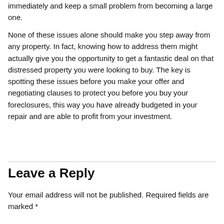immediately and keep a small problem from becoming a large one.
None of these issues alone should make you step away from any property. In fact, knowing how to address them might actually give you the opportunity to get a fantastic deal on that distressed property you were looking to buy. The key is spotting these issues before you make your offer and negotiating clauses to protect you before you buy your foreclosures, this way you have already budgeted in your repair and are able to profit from your investment.
Leave a Reply
Your email address will not be published. Required fields are marked *